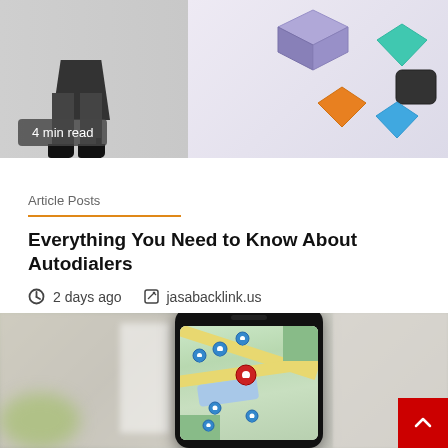[Figure (illustration): Top portion of a blog article card image showing a person's legs in black outfit and shoes on left, and colorful 3D communication/app icons (purple box, teal diamond, dark diamond, orange diamond, blue diamond) on grey/light purple background on right. Badge overlay reads '4 min read'.]
4 min read
Article Posts
Everything You Need to Know About Autodialers
2 days ago   jasabacklink.us
[Figure (photo): Smartphone displaying a Google Maps interface with blue and red location pin markers on a city map, held in front of a blurred indoor background. A red scroll-to-top button with a white upward chevron is in the bottom right corner.]